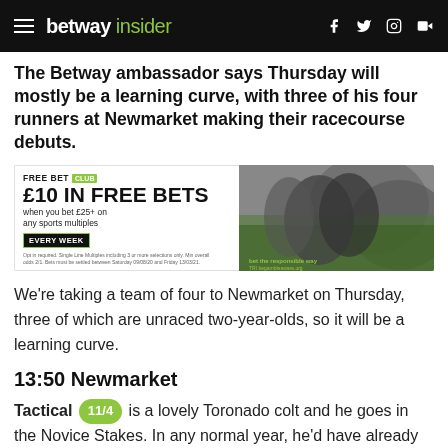betway insider
The Betway ambassador says Thursday will mostly be a learning curve, with three of his four runners at Newmarket making their racecourse debuts.
[Figure (infographic): Betway Free Bet Club advertisement banner: £10 IN FREE BETS when you bet £25+ on any sports multiples, EVERY WEEK, with football imagery]
We're taking a team of four to Newmarket on Thursday, three of which are unraced two-year-olds, so it will be a learning curve.
13:50 Newmarket
Tactical 11/4 is a lovely Toronado colt and he goes in the Novice Stakes. In any normal year, he'd have already been out by now, as he's rather precocious.